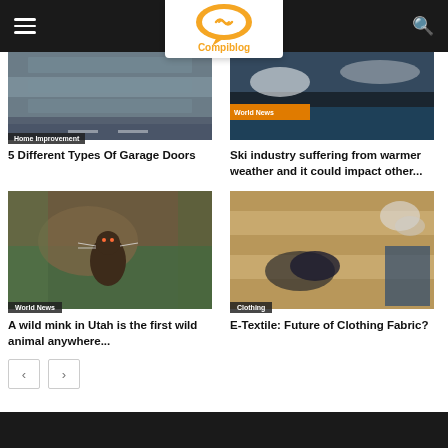Compiblog navigation bar
[Figure (photo): Garage door / Home Improvement category image]
Home Improvement
5 Different Types Of Garage Doors
[Figure (photo): World News category image - ski related]
World News
Ski industry suffering from warmer weather and it could impact other...
[Figure (photo): Wild mink in Utah - World News]
World News
A wild mink in Utah is the first wild animal anywhere...
[Figure (photo): E-Textile clothing on wooden floor - Clothing category]
Clothing
E-Textile: Future of Clothing Fabric?
pagination previous next